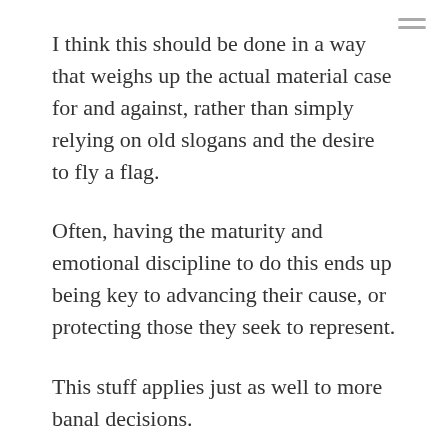I think this should be done in a way that weighs up the actual material case for and against, rather than simply relying on old slogans and the desire to fly a flag.
Often, having the maturity and emotional discipline to do this ends up being key to advancing their cause, or protecting those they seek to represent.
This stuff applies just as well to more banal decisions.
Do we trade slate places for an internal election? It's amazing how differently people can feel over doing this just as a one off! Should Labour